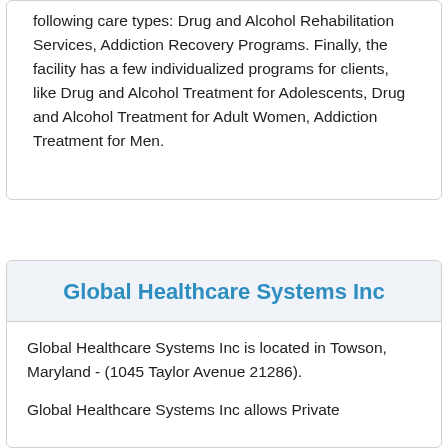following care types: Drug and Alcohol Rehabilitation Services, Addiction Recovery Programs. Finally, the facility has a few individualized programs for clients, like Drug and Alcohol Treatment for Adolescents, Drug and Alcohol Treatment for Adult Women, Addiction Treatment for Men.
Global Healthcare Systems Inc
Global Healthcare Systems Inc is located in Towson, Maryland - (1045 Taylor Avenue 21286).
Global Healthcare Systems Inc allows Private